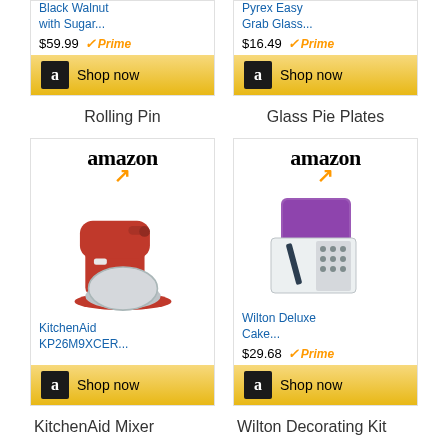[Figure (screenshot): Amazon product card for Rolling Pin showing price $59.99 and Prime badge with Shop now button]
[Figure (screenshot): Amazon product card for Glass Pie Plates showing price $16.49 and Prime badge with Shop now button]
Rolling Pin
Glass Pie Plates
[Figure (screenshot): Amazon product card for KitchenAid KP26M9XCER... with red stand mixer image and Shop now button]
[Figure (screenshot): Amazon product card for Wilton Deluxe Cake... showing price $29.68 and Prime badge with Shop now button]
KitchenAid Mixer
Wilton Decorating Kit
Ingredients